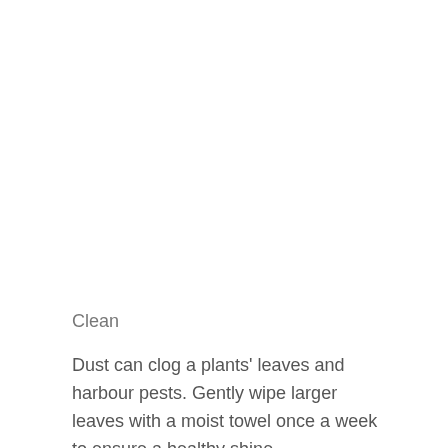Clean
Dust can clog a plants' leaves and harbour pests. Gently wipe larger leaves with a moist towel once a week to ensure a healthy shine.